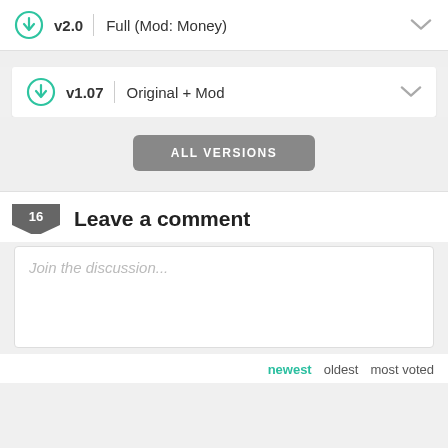v2.0 | Full (Mod: Money)
v1.07 | Original + Mod
ALL VERSIONS
16 Leave a comment
Join the discussion...
newest  oldest  most voted